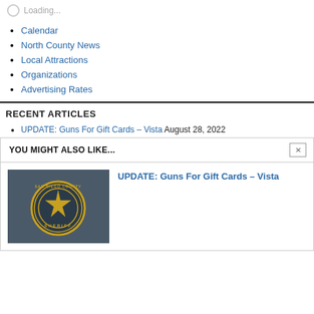Loading...
Calendar
North County News
Local Attractions
Organizations
Advertising Rates
RECENT ARTICLES
UPDATE: Guns For Gift Cards – Vista August 28, 2022
YOU MIGHT ALSO LIKE...
[Figure (photo): San Diego County Sheriff badge/patch on a dark uniform]
UPDATE: Guns For Gift Cards – Vista